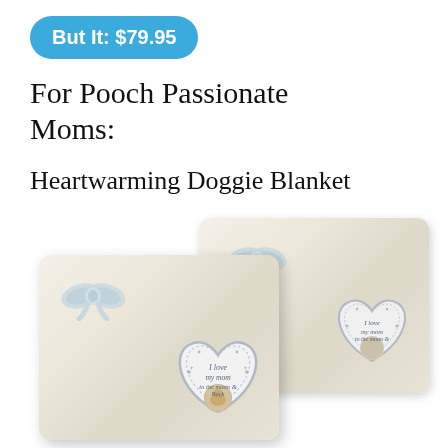But It: $79.95
For Pooch Passionate Moms:
Heartwarming Doggie Blanket
[Figure (photo): Two cream-colored fleece blankets with gray ribbon bows and heart-shaped patches reading 'I love my mom to the moon and back' with a dog photo in the center, displayed side by side at an angle.]